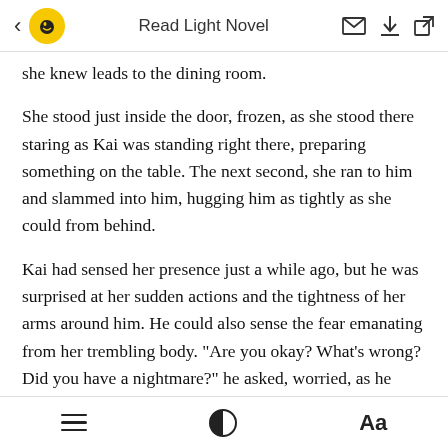Read Light Novel
she knew leads to the dining room.
She stood just inside the door, frozen, as she stood there staring as Kai was standing right there, preparing something on the table. The next second, she ran to him and slammed into him, hugging him as tightly as she could from behind.
Kai had sensed her presence just a while ago, but he was surprised at her sudden actions and the tightness of her arms around him. He could also sense the fear emanating from her trembling body. "Are you okay? What's wrong? Did you have a nightmare?" he asked, worried, as he turned
≡  ◑  Aa